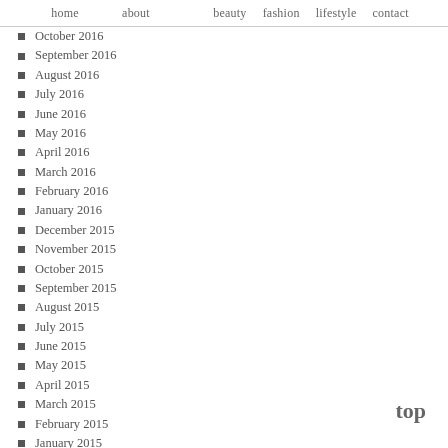home   about   beauty fashion lifestyle contact
October 2016
September 2016
August 2016
July 2016
June 2016
May 2016
April 2016
March 2016
February 2016
January 2016
December 2015
November 2015
October 2015
September 2015
August 2015
July 2015
June 2015
May 2015
April 2015
March 2015
February 2015
January 2015
December 2014
November 2014
top